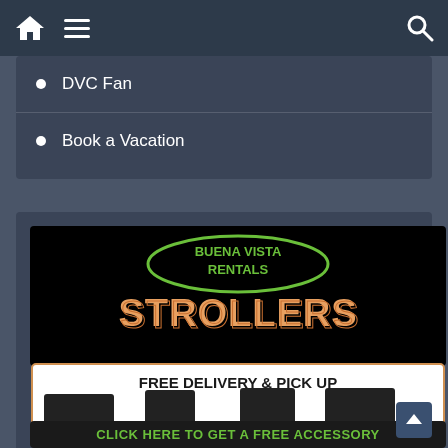Navigation bar with home, menu, and search icons
DVC Fan
Book a Vacation
[Figure (photo): Buena Vista Rentals Strollers advertisement. Black background with green oval logo at top reading 'BUENA VISTA RENTALS'. Large orange/peach text 'STROLLERS' below. White box with 'FREE DELIVERY & PICK UP' in bold black text and four stroller photos. Bottom green text 'CLICK HERE TO GET A FREE ACCESSORY'.]